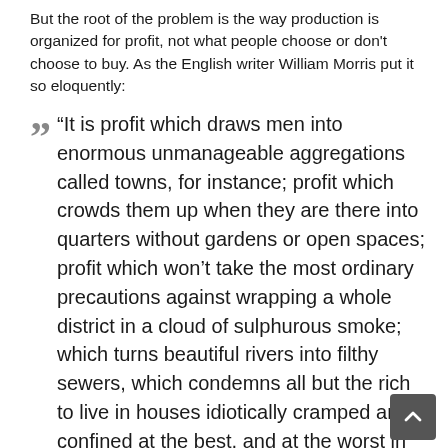But the root of the problem is the way production is organized for profit, not what people choose or don't choose to buy. As the English writer William Morris put it so eloquently:
“It is profit which draws men into enormous unmanageable aggregations called towns, for instance; profit which crowds them up when they are there into quarters without gardens or open spaces; profit which won’t take the most ordinary precautions against wrapping a whole district in a cloud of sulphurous smoke; which turns beautiful rivers into filthy sewers, which condemns all but the rich to live in houses idiotically cramped and confined at the best, and at the worst in houses for whose wretchedness there is no name.”